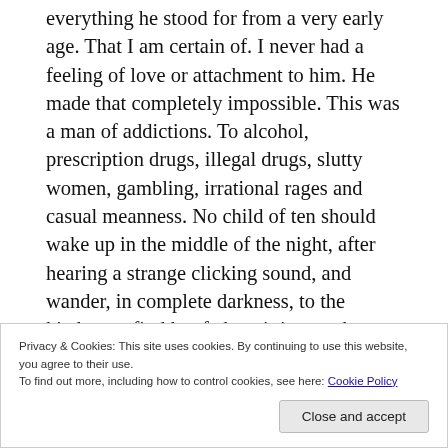everything he stood for from a very early age. That I am certain of. I never had a feeling of love or attachment to him. He made that completely impossible. This was a man of addictions. To alcohol, prescription drugs, illegal drugs, slutty women, gambling, irrational rages and casual meanness. No child of ten should wake up in the middle of the night, after hearing a strange clicking sound, and wander, in complete darkness, to the kitchen to find her father sitting on the kitchen counter pointing a hand gun at her. No child of nine years should have complete knowledge of her father's adultery. No child of six should be left
Privacy & Cookies: This site uses cookies. By continuing to use this website, you agree to their use.
To find out more, including how to control cookies, see here: Cookie Policy
Close and accept